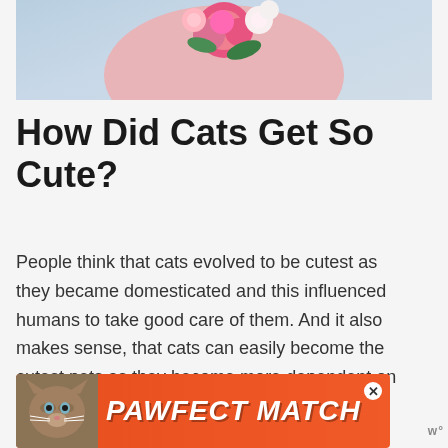[Figure (photo): Partial view of a cat or round object decorated with pink roses and white flowers against a light blue/grey gradient background]
How Did Cats Get So Cute?
People think that cats evolved to be cutest as they became domesticated and this influenced humans to take good care of them. And it also makes sense, that cats can easily become the cutest pets as they become more dependent on us for their survival.
[Figure (infographic): PAWFECT MATCH advertisement banner with orange/red background, cat photo on left, white italic bold text, and close button]